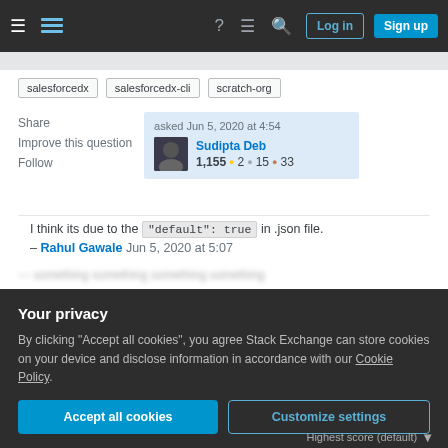Stack Exchange navigation bar with Log in and Sign up buttons
salesforcedx
salesforcedx-cli
scratch-org
Share
Improve this question
Follow
asked Jun 5, 2020 at 4:54
Sudipta Deb
1,155 ●2 ●15 ●33
I think its due to the "default": true in .json file. – Rahul Gawale Jun 5, 2020 at 5:07
Your privacy
By clicking "Accept all cookies", you agree Stack Exchange can store cookies on your device and disclose information in accordance with our Cookie Policy.
Accept all cookies
Customize settings